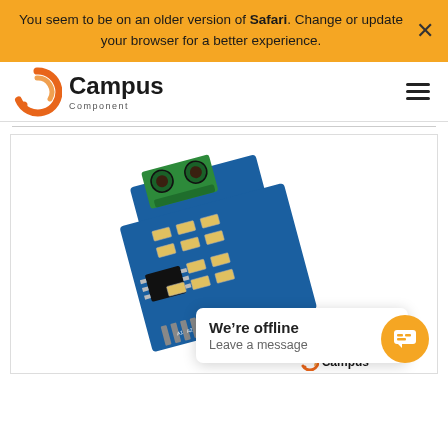You seem to be on an older version of Safari. Change or update your browser for a better experience.
[Figure (screenshot): Campus Component website navigation bar with orange and white circular logo and 'Campus' text with 'Component' subtitle, and a hamburger menu icon on the right]
[Figure (photo): Blue electronic circuit board module (likely RS-485/TTL converter) with a green 2-pin terminal block connector on top, SMD components, an 8-pin IC chip, and pin headers at the bottom]
We're offline
Leave a message